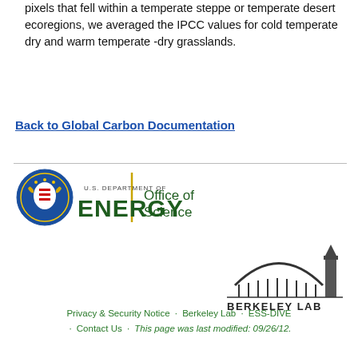pixels that fell within a temperate steppe or temperate desert ecoregions, we averaged the IPCC values for cold temperate dry and warm temperate -dry grasslands.
Back to Global Carbon Documentation
[Figure (logo): U.S. Department of Energy Office of Science logo]
[Figure (logo): Berkeley Lab logo]
Privacy & Security Notice · Berkeley Lab · ESS-DIVE · Contact Us · This page was last modified: 09/26/12.